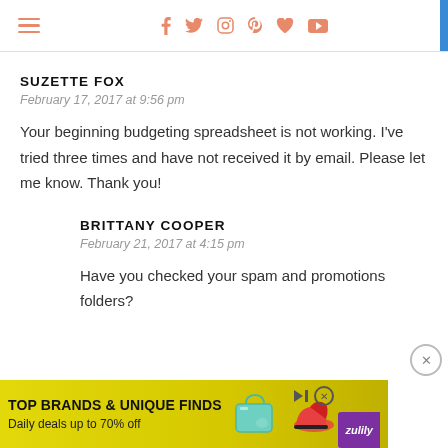Navigation header with hamburger menu and social icons (facebook, twitter, instagram, pinterest, heart, youtube)
SUZETTE FOX
February 17, 2017 at 9:56 pm
Your beginning budgeting spreadsheet is not working. I've tried three times and have not received it by email. Please let me know. Thank you!
BRITTANY COOPER
February 21, 2017 at 4:15 pm
Have you checked your spam and promotions folders?
[Figure (infographic): Advertisement banner: TOP BRANDS & UNIQUE FINDS. Daily deals up to 70% off. Zulily branding with product images.]